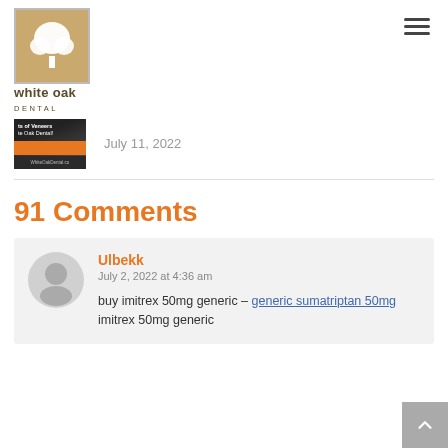[Figure (logo): White Oak Dental logo — tan square with white tree silhouette and text 'white oak DENTAL']
[Figure (photo): Thumbnail image of veneers article with orange banner, text 'ts of Veneers te Oak Dental!' and WhiteOakDental.co URL]
July 11, 2022
91 Comments
Ulbekk
July 2, 2022 at 4:36 am
buy imitrex 50mg generic – generic sumatriptan 50mg imitrex 50mg generic